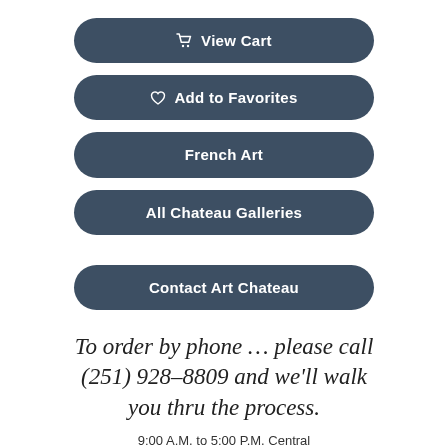View Cart
Add to Favorites
French Art
All Chateau Galleries
Contact Art Chateau
To order by phone ... please call (251) 928-8809 and we'll walk you thru the process.
9:00 A.M. to 5:00 P.M. Central